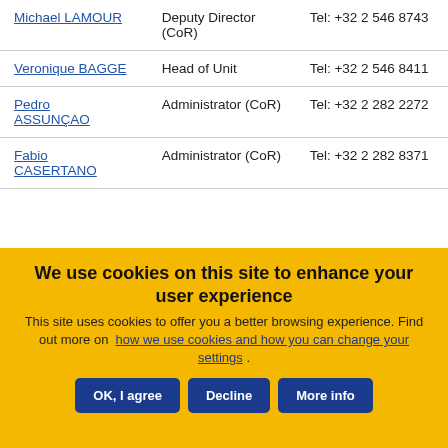| Name | Role | Contact |
| --- | --- | --- |
| Michael LAMOUR | Deputy Director (CoR) | Tel: +32 2 546 8743 |
| Veronique BAGGE | Head of Unit | Tel: +32 2 546 8411 |
| Pedro ASSUNÇAO | Administrator (CoR) | Tel: +32 2 282 2272 |
| Fabio CASERTANO | Administrator (CoR) | Tel: +32 2 282 8371 |
We use cookies on this site to enhance your user experience
This site uses cookies to offer you a better browsing experience. Find out more on how we use cookies and how you can change your settings.